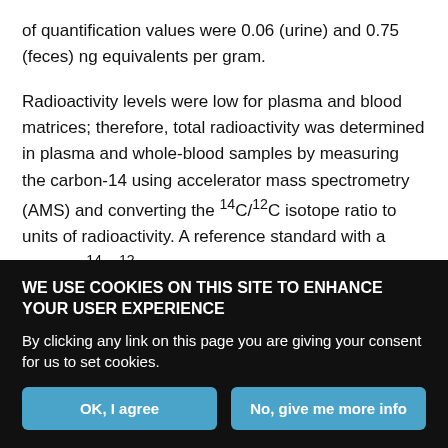of quantification values were 0.06 (urine) and 0.75 (feces) ng equivalents per gram.
Radioactivity levels were low for plasma and blood matrices; therefore, total radioactivity was determined in plasma and whole-blood samples by measuring the carbon-14 using accelerator mass spectrometry (AMS) and converting the 14C/12C isotope ratio to units of radioactivity. A reference standard with a certified 14C/12C isotope ratio was used for suitability samples and analyzed first before samples. Five standard samples were included in each batch analysis with a minimum of three replicates. The lower limit of quantification for plasma and whole blood samples was 0.50 and
WE USE COOKIES ON THIS SITE TO ENHANCE YOUR USER EXPERIENCE
By clicking any link on this page you are giving your consent for us to set cookies.